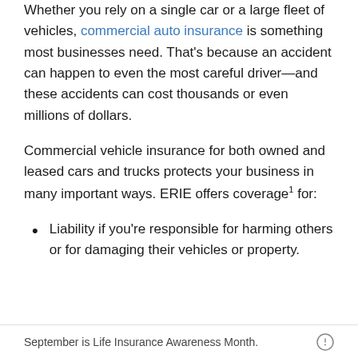Whether you rely on a single car or a large fleet of vehicles, commercial auto insurance is something most businesses need. That's because an accident can happen to even the most careful driver—and these accidents can cost thousands or even millions of dollars.
Commercial vehicle insurance for both owned and leased cars and trucks protects your business in many important ways. ERIE offers coverage¹ for:
Liability if you're responsible for harming others or for damaging their vehicles or property.
September is Life Insurance Awareness Month.